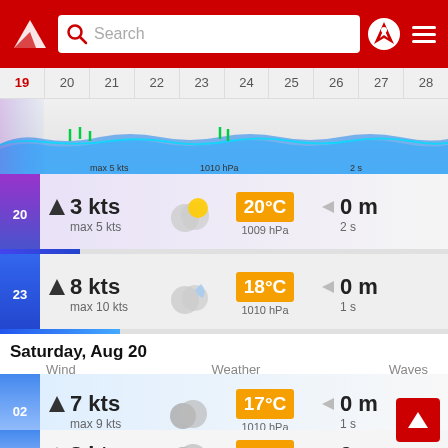Search bar with logo, search, pin and menu icons
[Figure (screenshot): Timeline bar showing dates 19-28 with wave/wind chart overlay]
20 | 3 kts | max 5 kts | 20°C | 1009 hPa | 0 m | 2 s
23 | 8 kts | max 10 kts | 18°C | 1010 hPa | 0 m | 1 s
Saturday, Aug 20
Wind | Weather | Waves
02 | 7 kts | max 9 kts | 17°C | 1010 hPa | 0 m | 1 s
05 | 8 kts | 17°C | 0 m